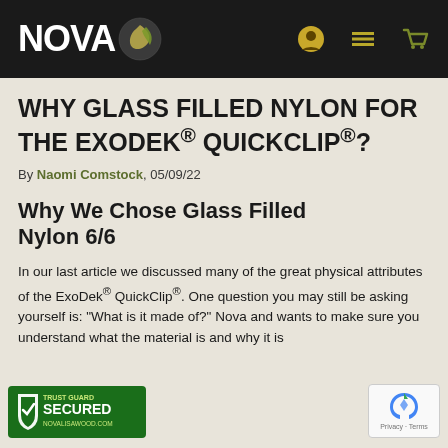NOVA [logo with leaf] — navigation bar with account, menu, and cart icons
WHY GLASS FILLED NYLON FOR THE EXODEK® QUICKCLIP®?
By Naomi Comstock, 05/09/22
Why We Chose Glass Filled Nylon 6/6
In our last article we discussed many of the great physical attributes of the ExoDek® QuickClip®. One question you may still be asking yourself is: "What is it made of?" Nova and wants to make sure you understand what the material is and why it is